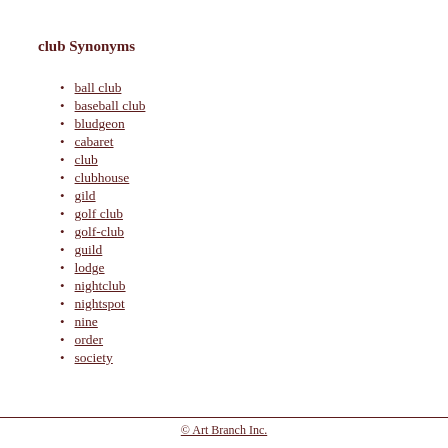club Synonyms
ball club
baseball club
bludgeon
cabaret
club
clubhouse
gild
golf club
golf-club
guild
lodge
nightclub
nightspot
nine
order
society
© Art Branch Inc.